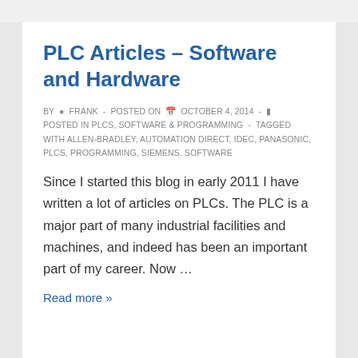PLC Articles – Software and Hardware
BY FRANK - POSTED ON OCTOBER 4, 2014 - POSTED IN PLCS, SOFTWARE & PROGRAMMING - TAGGED WITH ALLEN-BRADLEY, AUTOMATION DIRECT, IDEC, PANASONIC, PLCS, PROGRAMMING, SIEMENS, SOFTWARE
Since I started this blog in early 2011 I have written a lot of articles on PLCs. The PLC is a major part of many industrial facilities and machines, and indeed has been an important part of my career. Now …
Read more »